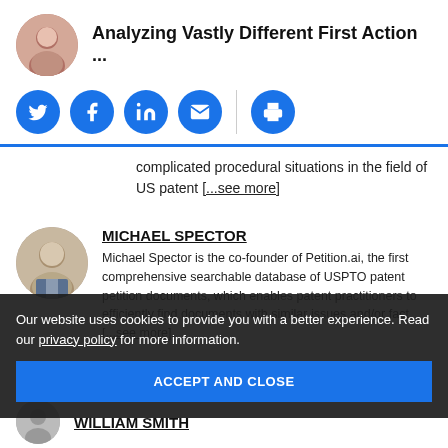Analyzing Vastly Different First Action ...
[Figure (illustration): Circular author photo of a woman]
[Figure (illustration): Social share icons: Twitter, Facebook, LinkedIn, Email, Print]
complicated procedural situations in the field of US patent [...see more]
[Figure (photo): Circular headshot photo of Michael Spector]
MICHAEL SPECTOR
Michael Spector is the co-founder of Petition.ai, the first comprehensive searchable database of USPTO patent petition documents, which enables patent practitioners to efficiently find documents with similar issues and/or fact [...see more].
Our website uses cookies to provide you with a better experience. Read our privacy policy for more information.
ACCEPT AND CLOSE
WILLIAM SMITH